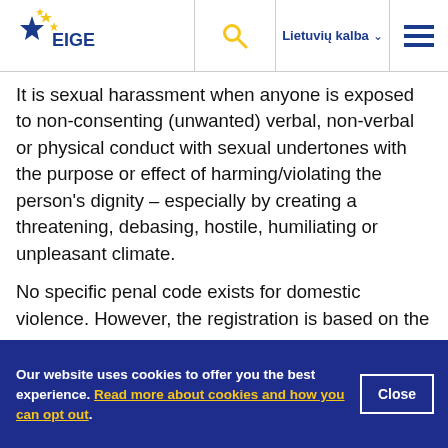EIGE | Lietuvių kalba
It is sexual harassment when anyone is exposed to non-consenting (unwanted) verbal, non-verbal or physical conduct with sexual undertones with the purpose or effect of harming/violating the person's dignity – especially by creating a threatening, debasing, hostile, humiliating or unpleasant climate.
No specific penal code exists for domestic violence. However, the registration is based on the
Our website uses cookies to offer you the best experience. Read more about cookies and how you can opt out.